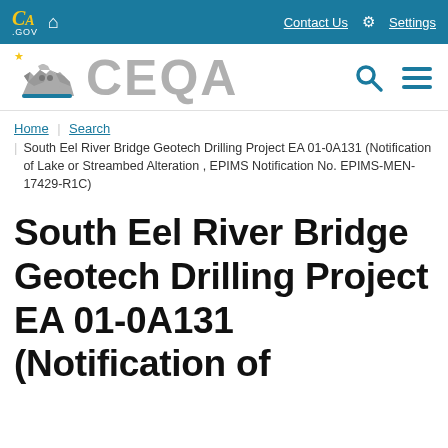CA.GOV | Home | Contact Us | Settings
[Figure (logo): CEQA California state government website header with bear logo, search and menu icons]
Home | Search | South Eel River Bridge Geotech Drilling Project EA 01-0A131 (Notification of Lake or Streambed Alteration , EPIMS Notification No. EPIMS-MEN-17429-R1C)
South Eel River Bridge Geotech Drilling Project EA 01-0A131 (Notification of